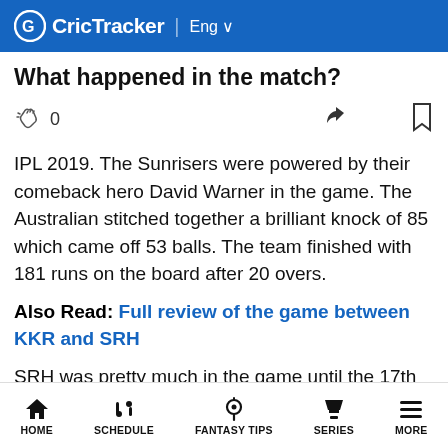CricTracker | Eng
What happened in the match?
IPL 2019. The Sunrisers were powered by their comeback hero David Warner in the game. The Australian stitched together a brilliant knock of 85 which came off 53 balls. The team finished with 181 runs on the board after 20 overs.
Also Read: Full review of the game between KKR and SRH
SRH was pretty much in the game until the 17th over. With the required run rate going past 15, it seemed tough for KKR to get home. But Andre Russell had other plans. He absolutely toyed with the bowlers and
HOME  SCHEDULE  FANTASY TIPS  SERIES  MORE